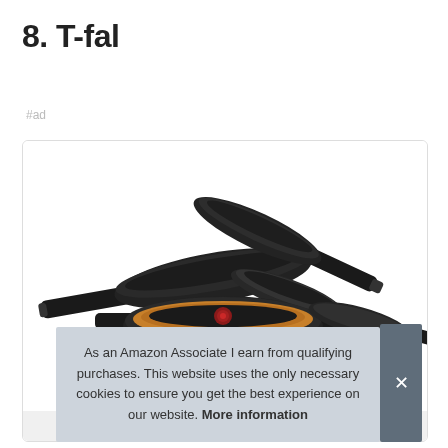8. T-fal
#ad
[Figure (photo): T-fal cookware set showing multiple black non-stick pans and pots with handles, stacked together on a white background inside a product card with rounded border.]
As an Amazon Associate I earn from qualifying purchases. This website uses the only necessary cookies to ensure you get the best experience on our website. More information